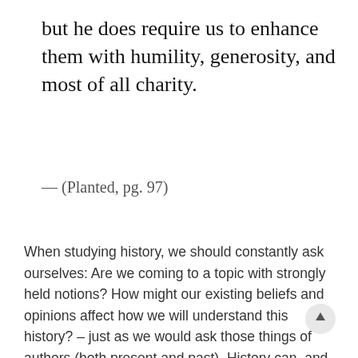but he does require us to enhance them with humility, generosity, and most of all charity.
— (Planted, pg. 97)
When studying history, we should constantly ask ourselves: Are we coming to a topic with strongly held notions? How might our existing beliefs and opinions affect how we will understand this history? – just as we would ask those things of authors (both present and past). History can, and should, challenge our beliefs. Working through that challenge and letting its lessons teach you requires diligence, humility, and charity as Patrick Mac noted.